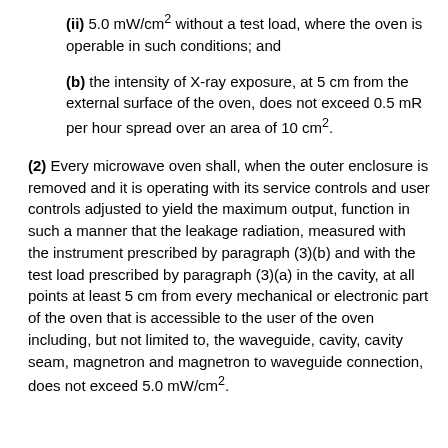(ii) 5.0 mW/cm² without a test load, where the oven is operable in such conditions; and
(b) the intensity of X-ray exposure, at 5 cm from the external surface of the oven, does not exceed 0.5 mR per hour spread over an area of 10 cm².
(2) Every microwave oven shall, when the outer enclosure is removed and it is operating with its service controls and user controls adjusted to yield the maximum output, function in such a manner that the leakage radiation, measured with the instrument prescribed by paragraph (3)(b) and with the test load prescribed by paragraph (3)(a) in the cavity, at all points at least 5 cm from every mechanical or electronic part of the oven that is accessible to the user of the oven including, but not limited to, the waveguide, cavity, cavity seam, magnetron and magnetron to waveguide connection, does not exceed 5.0 mW/cm².